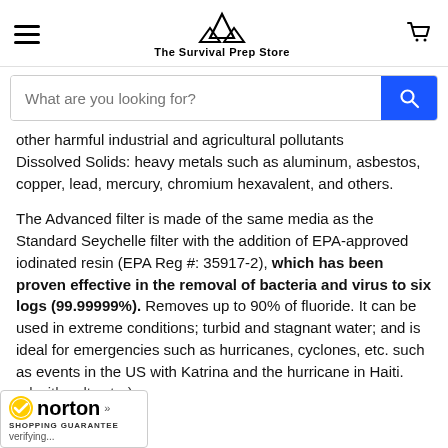The Survival Prep Store
other harmful industrial and agricultural pollutants
Dissolved Solids: heavy metals such as aluminum, asbestos, copper, lead, mercury, chromium hexavalent, and others.
The Advanced filter is made of the same media as the Standard Seychelle filter with the addition of EPA-approved iodinated resin (EPA Reg #: 35917-2), which has been proven effective in the removal of bacteria and virus to six logs (99.99999%). Removes up to 90% of fluoride. It can be used in extreme conditions; turbid and stagnant water; and is ideal for emergencies such as hurricanes, cyclones, etc. such as events in the US with Katrina and the hurricane in Haiti. (ed with saltwater)
[Figure (logo): Norton Shopping Guarantee badge with checkmark]